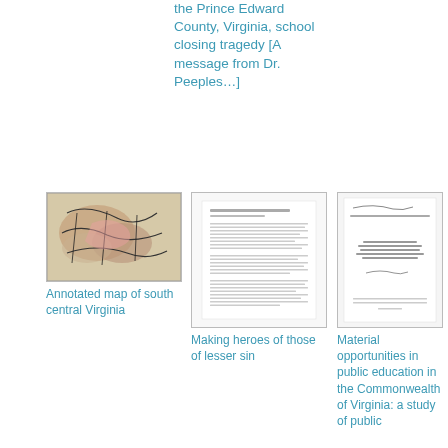the Prince Edward County, Virginia, school closing tragedy [A message from Dr. Peeples…]
[Figure (map): Annotated map of south central Virginia showing county boundaries with colored regions]
Annotated map of south central Virginia
[Figure (photo): Thumbnail of document titled Making heroes of those of lesser sin]
Making heroes of those of lesser sin
[Figure (photo): Thumbnail of document titled Material opportunities in public education in the Commonwealth of Virginia: a study of public]
Material opportunities in public education in the Commonwealth of Virginia: a study of public